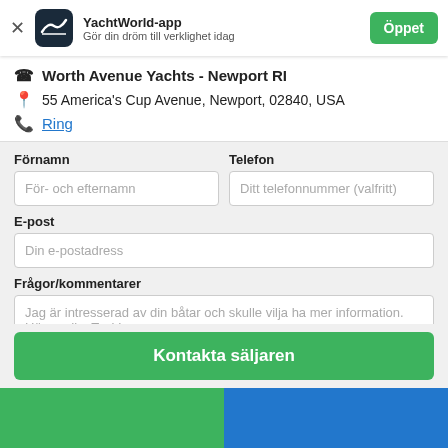YachtWorld-app – Gör din dröm till verklighet idag
Worth Avenue Yachts - Newport RI
55 America's Cup Avenue, Newport, 02840, USA
Ring
Förnamn
Telefon
E-post
Frågor/kommentarer
Kontakta säljaren